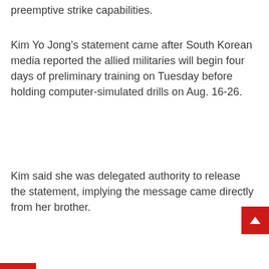preemptive strike capabilities.
Kim Yo Jong’s statement came after South Korean media reported the allied militaries will begin four days of preliminary training on Tuesday before holding computer-simulated drills on Aug. 16-26.
Kim said she was delegated authority to release the statement, implying the message came directly from her brother.